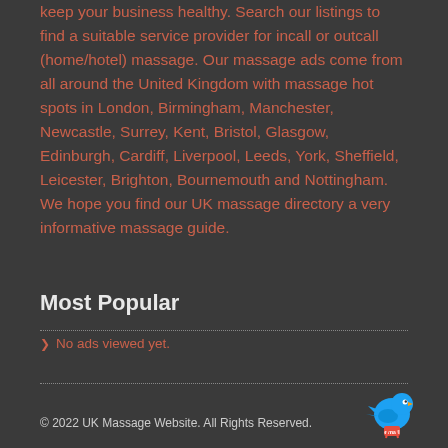keep your business healthy. Search our listings to find a suitable service provider for incall or outcall (home/hotel) massage. Our massage ads come from all around the United Kingdom with massage hot spots in London, Birmingham, Manchester, Newcastle, Surrey, Kent, Bristol, Glasgow, Edinburgh, Cardiff, Liverpool, Leeds, York, Sheffield, Leicester, Brighton, Bournemouth and Nottingham. We hope you find our UK massage directory a very informative massage guide.
Most Popular
No ads viewed yet.
© 2022 UK Massage Website. All Rights Reserved.